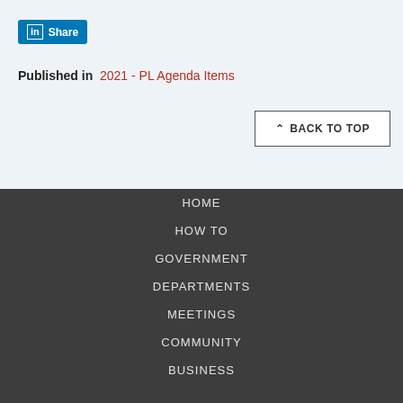[Figure (logo): LinkedIn Share button with 'in' logo and 'Share' text on blue background]
Published in  2021 - PL Agenda Items
^ BACK TO TOP
HOME
HOW TO
GOVERNMENT
DEPARTMENTS
MEETINGS
COMMUNITY
BUSINESS